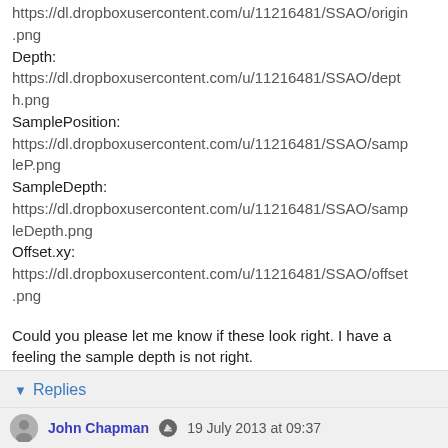https://dl.dropboxusercontent.com/u/11216481/SSAO/origin.png
Depth:
https://dl.dropboxusercontent.com/u/11216481/SSAO/depth.png
SamplePosition:
https://dl.dropboxusercontent.com/u/11216481/SSAO/sampleP.png
SampleDepth:
https://dl.dropboxusercontent.com/u/11216481/SSAO/sampleDepth.png
Offset.xy:
https://dl.dropboxusercontent.com/u/11216481/SSAO/offset.png
Could you please let me know if these look right. I have a feeling the sample depth is not right.
Any help would be greatly appreciated. Thanks!
Reply
Replies
John Chapman   19 July 2013 at 09:37